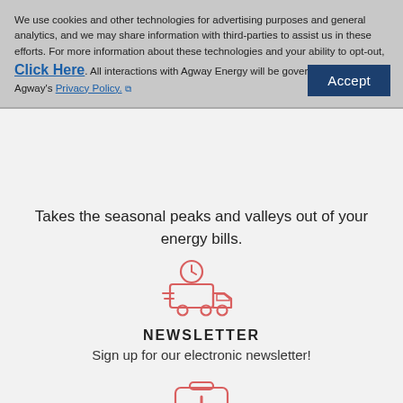We use cookies and other technologies for advertising purposes and general analytics, and we may share information with third-parties to assist us in these efforts. For more information about these technologies and your ability to opt-out, Click Here. All interactions with Agway Energy will be governed generally by Agway's Privacy Policy.
Takes the seasonal peaks and valleys out of your energy bills.
[Figure (illustration): Red/coral outline icon of a delivery truck with a clock on top and motion lines]
NEWSLETTER
Sign up for our electronic newsletter!
[Figure (illustration): Red/coral outline icon of a first aid / medical kit with a cross symbol]
SAFETY FIRST